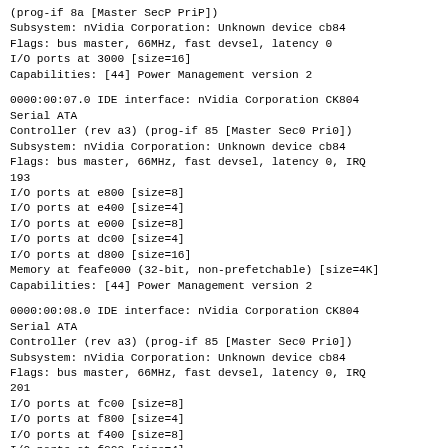(prog-if 8a [Master SecP PriP])
Subsystem: nVidia Corporation: Unknown device cb84
Flags: bus master, 66MHz, fast devsel, latency 0
I/O ports at 3000 [size=16]
Capabilities: [44] Power Management version 2
0000:00:07.0 IDE interface: nVidia Corporation CK804 Serial ATA
Controller (rev a3) (prog-if 85 [Master Sec0 Pri0])
Subsystem: nVidia Corporation: Unknown device cb84
Flags: bus master, 66MHz, fast devsel, latency 0, IRQ 193
I/O ports at e800 [size=8]
I/O ports at e400 [size=4]
I/O ports at e000 [size=8]
I/O ports at dc00 [size=4]
I/O ports at d800 [size=16]
Memory at feafe000 (32-bit, non-prefetchable) [size=4K]
Capabilities: [44] Power Management version 2
0000:00:08.0 IDE interface: nVidia Corporation CK804 Serial ATA
Controller (rev a3) (prog-if 85 [Master Sec0 Pri0])
Subsystem: nVidia Corporation: Unknown device cb84
Flags: bus master, 66MHz, fast devsel, latency 0, IRQ 201
I/O ports at fc00 [size=8]
I/O ports at f800 [size=4]
I/O ports at f400 [size=8]
I/O ports at f000 [size=4]
I/O ports at ec00 [size=16]